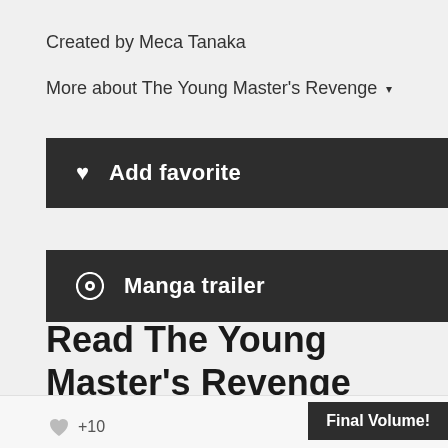Created by Meca Tanaka
More about The Young Master's Revenge ▾
♥  Add favorite
⊙  Manga trailer
Read The Young Master's Revenge manga
+10  Final Volume!